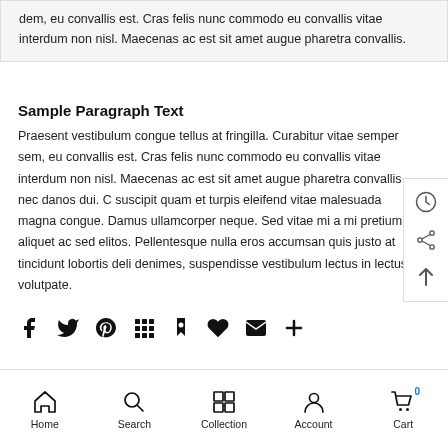dem, eu convallis est. Cras felis nunc commodo eu convallis vitae interdum non nisl. Maecenas ac est sit amet augue pharetra convallis.
Sample Paragraph Text
Praesent vestibulum congue tellus at fringilla. Curabitur vitae semper sem, eu convallis est. Cras felis nunc commodo eu convallis vitae interdum non nisl. Maecenas ac est sit amet augue pharetra convallis nec danos dui. C suscipit quam et turpis eleifend vitae malesuada magna congue. Damus ullamcorper neque. Sed vitae mi a mi pretium aliquet ac sed elitos. Pellentesque nulla eros accumsan quis justo at tincidunt lobortis deli denimes, suspendisse vestibulum lectus in lectus volutpate.
[Figure (infographic): Row of social sharing icons: Facebook, Twitter, Pinterest, Grid, Bookmark, Heart, Mail, Plus]
Home  Search  Collection  Account  Cart 0